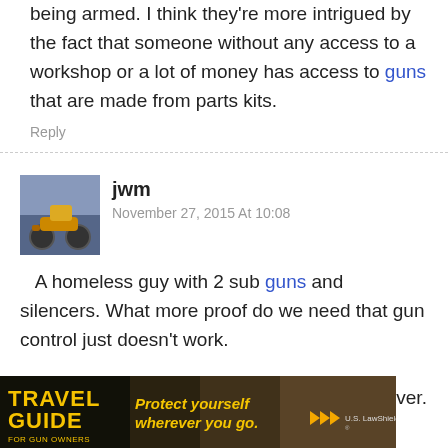being armed. I think they're more intrigued by the fact that someone without any access to a workshop or a lot of money has access to guns that are made from parts kits.
Reply
[Figure (photo): Avatar photo of a person on a motorcycle/scooter]
jwm
November 27, 2015 At 10:08
A homeless guy with 2 sub guns and silencers. What more proof do we need that gun control just doesn't work.

Time to scrap all gun control laws and start over.
Reply
[Figure (photo): Travel Guide for Gun Owners advertisement banner - 'Protect yourself wherever you go.' with U.S. LawShield branding]